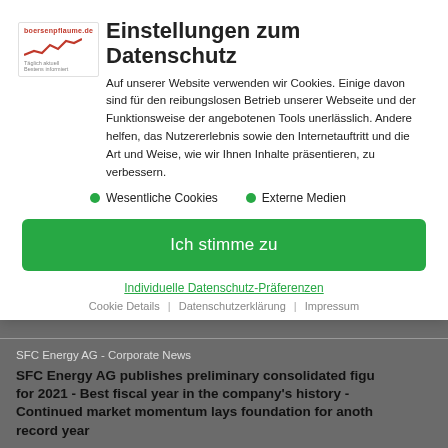[Figure (logo): boersenpflaume.de logo with red text and line chart graphic]
Einstellungen zum Datenschutz
Auf unserer Website verwenden wir Cookies. Einige davon sind für den reibungslosen Betrieb unserer Webseite und der Funktionsweise der angebotenen Tools unerlässlich. Andere helfen, das Nutzererlebnis sowie den Internetauftritt und die Art und Weise, wie wir Ihnen Inhalte präsentieren, zu verbessern.
Wesentliche Cookies
Externe Medien
Ich stimme zu
Individuelle Datenschutz-Präferenzen
Cookie Details | Datenschutzerklärung | Impressum
SFC Energy AG - Corporate News
SFC Energy AG publishes preliminary consolidated figures for 2021 - Best fiscal year in the company's history - Continued market momentum lays foundation for another record year